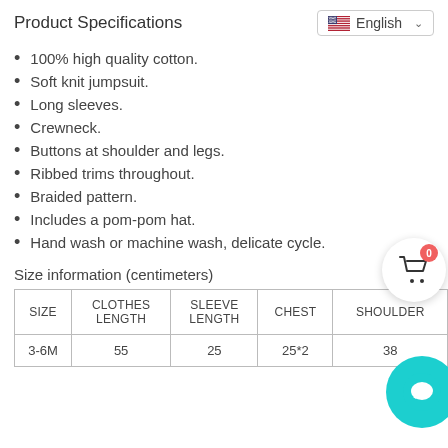Product Specifications
100% high quality cotton.
Soft knit jumpsuit.
Long sleeves.
Crewneck.
Buttons at shoulder and legs.
Ribbed trims throughout.
Braided pattern.
Includes a pom-pom hat.
Hand wash or machine wash, delicate cycle.
Size information (centimeters)
| SIZE | CLOTHES LENGTH | SLEEVE LENGTH | CHEST | SHOULDER |
| --- | --- | --- | --- | --- |
| 3-6M | 55 | 25 | 25*2 | 38 |